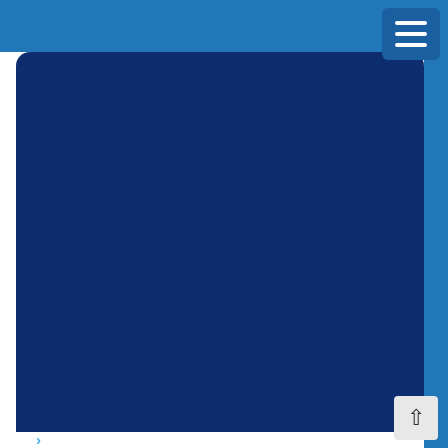[Figure (logo): PADI 5 Star logo — circular badge with red outer ring reading 'Insist on PADI 5 Star Quality – Pattaya Dive Centre', blue inner circle with white text 'INSIST ON PADI 5 STAR' and five stars]
IN THIS SECTION
PADI Professional Diver Training
Divemaster (DM)